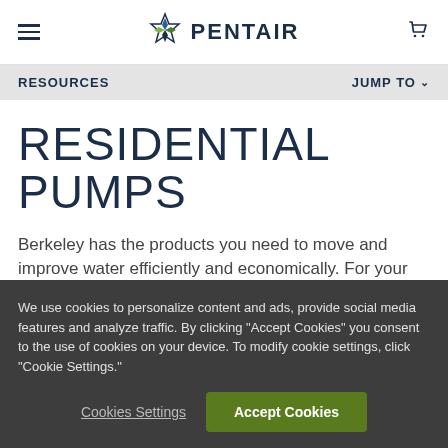PENTAIR
RESOURCES | JUMP TO
RESIDENTIAL PUMPS
Berkeley has the products you need to move and improve water efficiently and economically. For your convenience, Berkeley offers both water pumps and pressurized
We use cookies to personalize content and ads, provide social media features and analyze traffic. By clicking "Accept Cookies" you consent to the use of cookies on your device. To modify cookie settings, click "Cookie Settings."
Cookies Settings | Accept Cookies